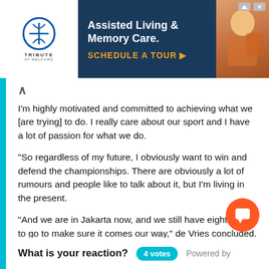[Figure (screenshot): Advertisement banner for Tribute at Melford Assisted Living & Memory Care with 'Schedule a Tour' call to action]
I'm highly motivated and committed to achieving what we [are trying] to do. I really care about our sport and I have a lot of passion for what we do.
“So regardless of my future, I obviously want to win and defend the championships. There are obviously a lot of rumours and people like to talk about it, but I’m living in the present.
“And we are in Jakarta now, and we still have eight races to go to make sure it comes our way,” de Vries concluded.
Follow us on Twitter @SilverArrowsNet and like us on Facebook!
What is your reaction? 4 votes Powered by